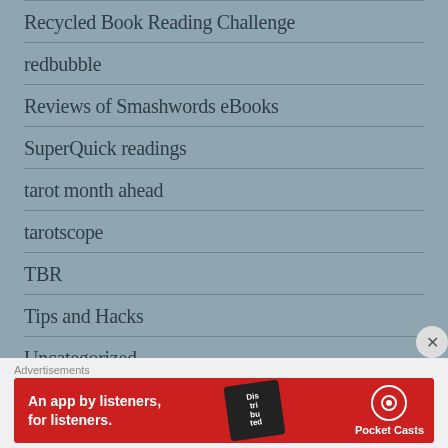Recycled Book Reading Challenge
redbubble
Reviews of Smashwords eBooks
SuperQuick readings
tarot month ahead
tarotscope
TBR
Tips and Hacks
Uncategorized
video
Advertisements
[Figure (screenshot): Red advertisement banner for Pocket Casts podcast app with text 'An app by listeners, for listeners.' and phone image]